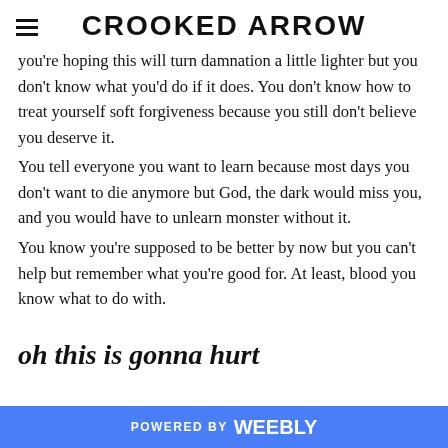CROOKED ARROW
you're hoping this will turn damnation a little lighter but you don't know what you'd do if it does. You don't know how to treat yourself soft forgiveness because you still don't believe you deserve it.
You tell everyone you want to learn because most days you don't want to die anymore but God, the dark would miss you, and you would have to unlearn monster without it.
You know you're supposed to be better by now but you can't help but remember what you're good for. At least, blood you know what to do with.
oh this is gonna hurt
POWERED BY weebly